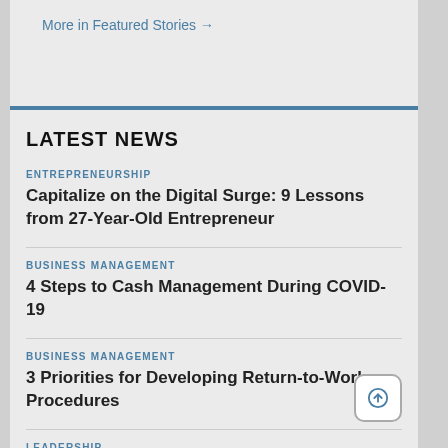More in Featured Stories →
LATEST NEWS
ENTREPRENEURSHIP
Capitalize on the Digital Surge: 9 Lessons from 27-Year-Old Entrepreneur
BUSINESS MANAGEMENT
4 Steps to Cash Management During COVID-19
BUSINESS MANAGEMENT
3 Priorities for Developing Return-to-Work Procedures
LEADERSHIP